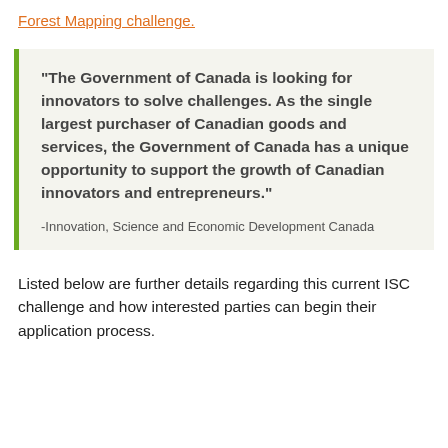Forest Mapping challenge.
“The Government of Canada is looking for innovators to solve challenges. As the single largest purchaser of Canadian goods and services, the Government of Canada has a unique opportunity to support the growth of Canadian innovators and entrepreneurs.”
-Innovation, Science and Economic Development Canada
Listed below are further details regarding this current ISC challenge and how interested parties can begin their application process.